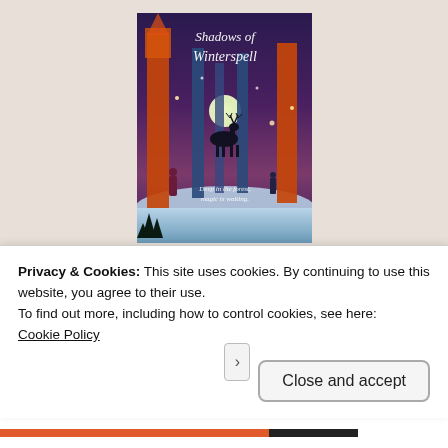[Figure (photo): A photograph of the book 'Shadows of Winterspell' propped against a light beige wall. The book cover shows a fantasy forest scene with tall orange/red trees, a deer silhouette in front of a glowing moon, small figures, and the text 'Deep in the forest, magic is waiting' at the bottom. The title 'Shadows of Winterspell' is written in white script at the top.]
Extract:
Privacy & Cookies: This site uses cookies. By continuing to use this website, you agree to their use.
To find out more, including how to control cookies, see here:
Cookie Policy
Close and accept